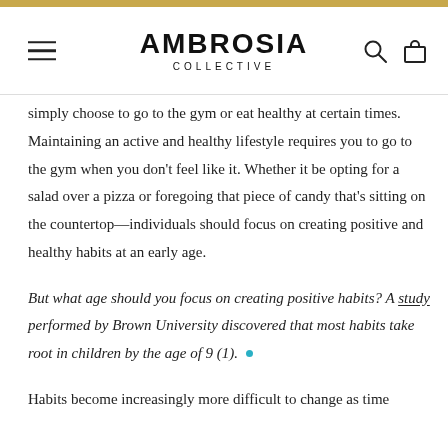AMBROSIA COLLECTIVE
simply choose to go to the gym or eat healthy at certain times. Maintaining an active and healthy lifestyle requires you to go to the gym when you don't feel like it. Whether it be opting for a salad over a pizza or foregoing that piece of candy that's sitting on the countertop—individuals should focus on creating positive and healthy habits at an early age.
But what age should you focus on creating positive habits? A study performed by Brown University discovered that most habits take root in children by the age of 9 (1).
Habits become increasingly more difficult to change as time